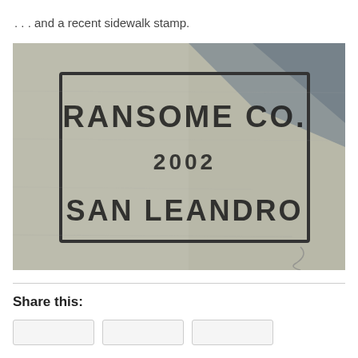. . . and a recent sidewalk stamp.
[Figure (photo): Close-up photograph of a concrete sidewalk stamp reading 'RANSOME CO. 2002 SAN LEANDRO' stamped inside a rectangular border on grey concrete.]
Share this: